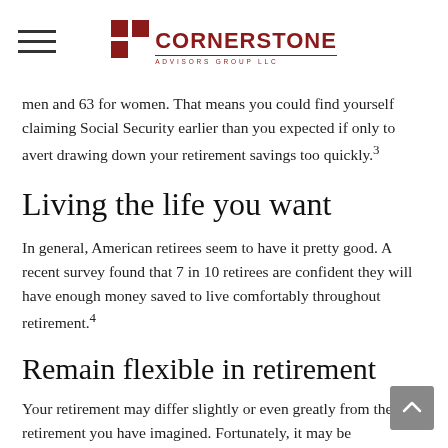Cornerstone Advisors Group LLC
men and 63 for women. That means you could find yourself claiming Social Security earlier than you expected if only to avert drawing down your retirement savings too quickly.3
Living the life you want
In general, American retirees seem to have it pretty good. A recent survey found that 7 in 10 retirees are confident they will have enough money saved to live comfortably throughout retirement.4
Remain flexible in retirement
Your retirement may differ slightly or even greatly from the retirement you have imagined. Fortunately, it may be